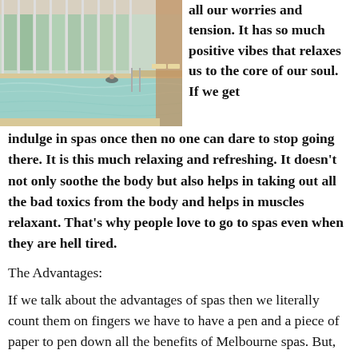[Figure (photo): Indoor swimming pool with large glass windows, calm turquoise water, and a person swimming. Poolside lounge chairs visible in background.]
all our worries and tension. It has so much positive vibes that relaxes us to the core of our soul. If we get indulge in spas once then no one can dare to stop going there. It is this much relaxing and refreshing. It doesn't not only soothe the body but also helps in taking out all the bad toxics from the body and helps in muscles relaxant. That's why people love to go to spas even when they are hell tired.
The Advantages:
If we talk about the advantages of spas then we literally count them on fingers we have to have a pen and a piece of paper to pen down all the benefits of Melbourne spas. But, nevertheless, there are some main advantages of spas that are mentioned below.